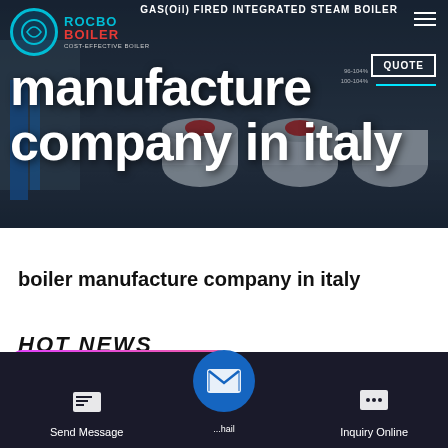[Figure (screenshot): Hero section of ROCBO Boiler website featuring industrial steam boilers in background with 'manufacture company in italy' overlay text, logo, QUOTE button, and hamburger menu]
manufacture company in italy
boiler manufacture company in italy
[Figure (screenshot): Bottom navigation bar with Send Message, email (center circle button), and Inquiry Online buttons on dark background. WhatsApp sticker popup partially visible.]
Save Stickers on WhatsApp
Send Message
Inquiry Online